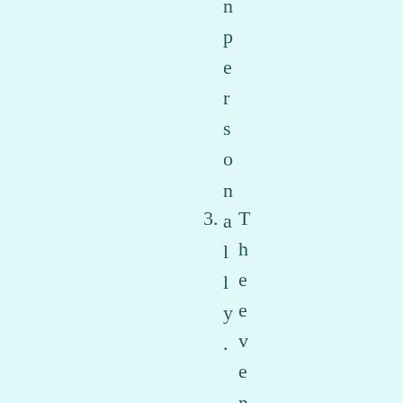npersonally. 3. The event has be...